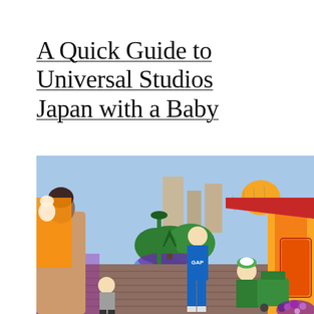A Quick Guide to Universal Studios Japan with a Baby
[Figure (photo): Outdoor scene at Universal Studios Japan showing a colorful theme park area. A woman in a fur coat looks down at a toddler walking on brick pavement. A person in a blue GAP hoodie walks nearby. A park employee in green outfit crouches beside a green cart. Colorful balloons and decorative cartoon characters are visible in the background, along with a green lamp post and hedges. Bright storefronts with red and green awnings are on the right.]